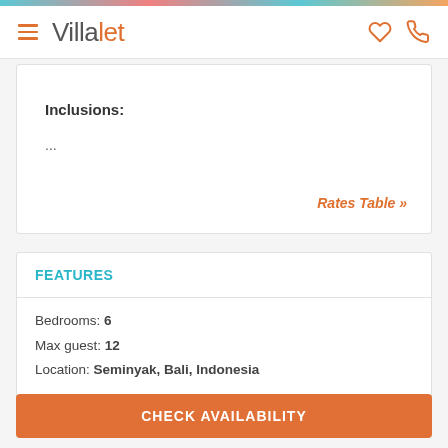Villalet
Inclusions:
...
Rates Table »
FEATURES
Bedrooms: 6
Max guest: 12
Location: Seminyak, Bali, Indonesia
CHECK AVAILABILITY